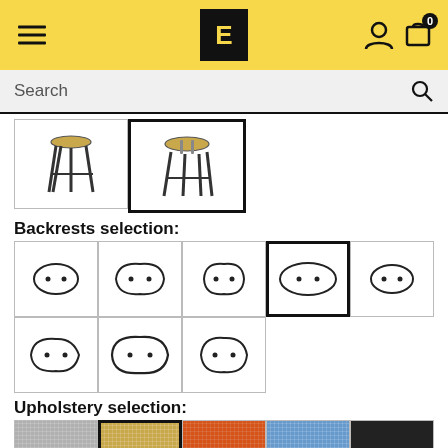E - furniture website header with logo, hamburger menu, user and cart icons
Search
[Figure (illustration): Two stool product thumbnails, second one selected with bold border]
Backrests selection:
[Figure (illustration): 8 backrest shape options in a grid, 4th one selected with bold border. Each shows an organic oval cushion shape with two dots.]
Upholstery selection:
[Figure (illustration): 5 upholstery color swatches: grey, tan/beige (selected), orange, blue, black]